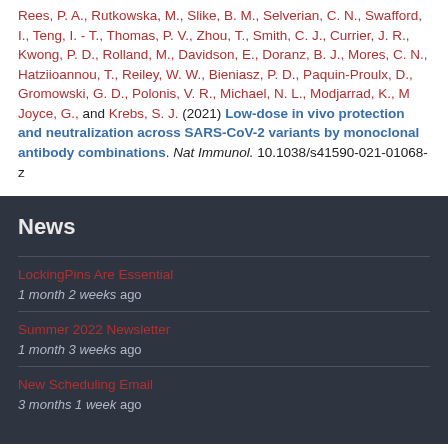Rees, P. A., Rutkowska, M., Slike, B. M., Selverian, C. N., Swafford, I., Teng, I. - T., Thomas, P. V., Zhou, T., Smith, C. J., Currier, J. R., Kwong, P. D., Rolland, M., Davidson, E., Doranz, B. J., Mores, C. N., Hatziioannou, T., Reiley, W. W., Bieniasz, P. D., Paquin-Proulx, D., Gromowski, G. D., Polonis, V. R., Michael, N. L., Modjarrad, K., M Joyce, G., and Krebs, S. J. (2021) Low-dose in vivo protection and neutralization across SARS-CoV-2 variants by monoclonal antibody combinations. Nat Immunol. 10.1038/s41590-021-01068-z
News
LockingPins Are Essential
1 month 2 weeks ago
Summer 2022 Newsletter
1 month 3 weeks ago
New Scheduling Email
3 months 1 week ago